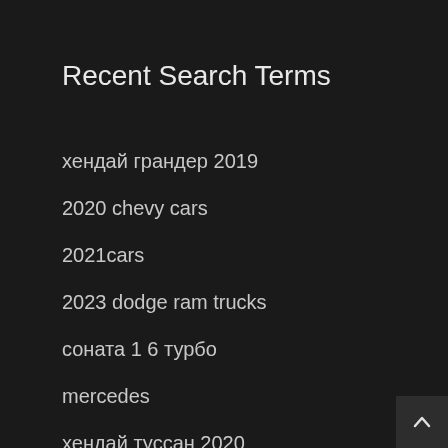Recent Search Terms
хендай грандер 2019
2020 chevy cars
2021cars
2023 dodge ram trucks
соната 1 6 турбо
mercedes
хендай туссан 2020
Volkswagen 2023